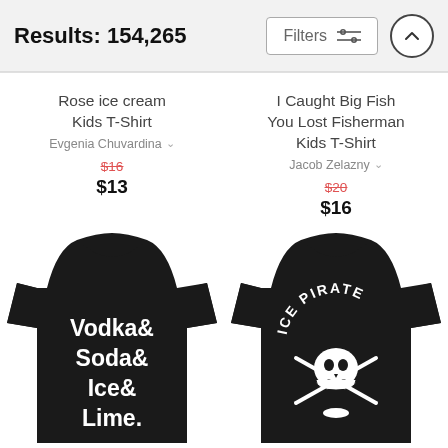Results: 154,265
Rose ice cream Kids T-Shirt
Evgenia Chuvardina
$16 (strikethrough)
$13
I Caught Big Fish You Lost Fisherman Kids T-Shirt
Jacob Zelazny
$20 (strikethrough)
$16
[Figure (photo): Black kids t-shirt with white text reading 'Vodka& Soda& Ice& Lime.']
[Figure (photo): Black kids t-shirt with white graphic of a skull and hockey sticks and text 'ICE PIRATE']